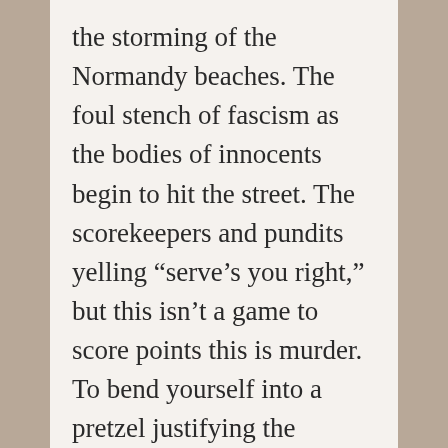the storming of the Normandy beaches. The foul stench of fascism as the bodies of innocents begin to hit the street. The scorekeepers and pundits yelling “serve’s you right,” but this isn’t a game to score points this is murder. To bend yourself into a pretzel justifying the murder of those you disagree with. To lose all sense of decency